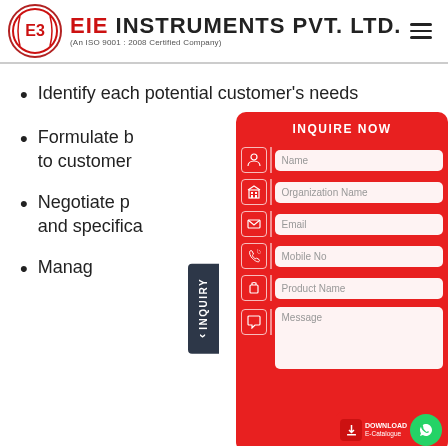EIE INSTRUMENTS PVT. LTD. (An ISO 9001 : 2008 Certified Company)
Identify each potential customer's needs
Formulate b... to customer...
Negotiate p... and specifica...
Manag...
[Figure (screenshot): Inquiry Now form panel with fields: Name, Organization Name, Email, Mobile No, Product Name, Message. Red background with white input fields and icons.]
INQUIRY